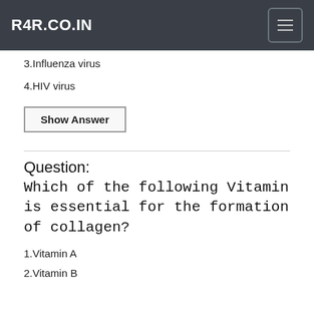R4R.CO.IN
3.Influenza virus
4.HIV virus
Show Answer
Question: Which of the following Vitamin is essential for the formation of collagen?
1.Vitamin A
2.Vitamin B